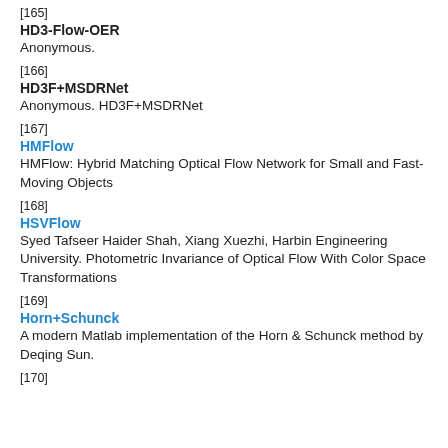[165]
HD3-Flow-OER
Anonymous.
[166]
HD3F+MSDRNet
Anonymous. HD3F+MSDRNet
[167]
HMFlow
HMFlow: Hybrid Matching Optical Flow Network for Small and Fast-Moving Objects
[168]
HSVFlow
Syed Tafseer Haider Shah, Xiang Xuezhi, Harbin Engineering University. Photometric Invariance of Optical Flow With Color Space Transformations
[169]
Horn+Schunck
A modern Matlab implementation of the Horn & Schunck method by Deqing Sun.
[170]